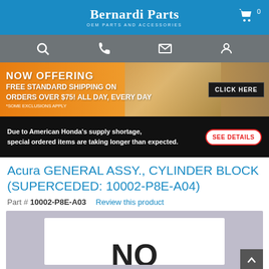Bernardi Parts — OEM PARTS AND ACCESSORIES
[Figure (screenshot): Navigation bar with search, phone, email, and account icons on grey background]
[Figure (infographic): Orange promotional banner: NOW OFFERING FREE STANDARD SHIPPING ON ORDERS OVER $75! ALL DAY, EVERY DAY *SOME EXCLUSIONS APPLY — CLICK HERE]
[Figure (infographic): Black banner: Due to American Honda's supply shortage, special ordered items are taking longer than expected. SEE DETAILS button.]
Acura GENERAL ASSY., CYLINDER BLOCK (SUPERCEDED: 10002-P8E-A04)
Part # 10002-P8E-A03    Review this product
[Figure (photo): Product image area with grey background showing partial text 'NO' at bottom — no image available placeholder]